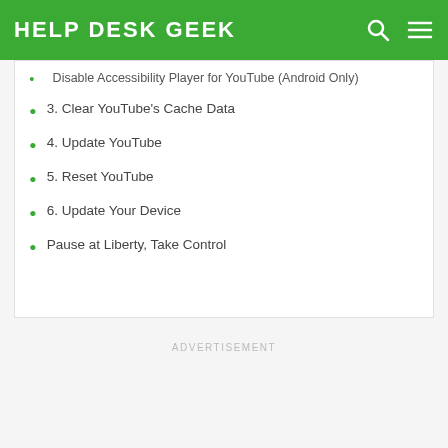HELP DESK GEEK
Disable Accessibility Player for YouTube (Android Only)
3. Clear YouTube's Cache Data
4. Update YouTube
5. Reset YouTube
6. Update Your Device
Pause at Liberty, Take Control
ADVERTISEMENT